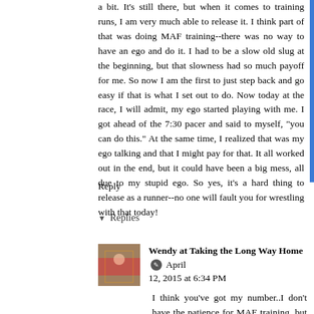a bit. It's still there, but when it comes to training runs, I am very much able to release it. I think part of that was doing MAF training--there was no way to have an ego and do it. I had to be a slow old slug at the beginning, but that slowness had so much payoff for me. So now I am the first to just step back and go easy if that is what I set out to do. Now today at the race, I will admit, my ego started playing with me. I got ahead of the 7:30 pacer and said to myself, "you can do this." At the same time, I realized that was my ego talking and that I might pay for that. It all worked out in the end, but it could have been a big mess, all due to my stupid ego. So yes, it's a hard thing to release as a runner--no one will fault you for wrestling with that today!
Reply
▼ Replies
Wendy at Taking the Long Way Home ✎ April 12, 2015 at 6:34 PM
I think you've got my number..I don't have the patience for MAF training, but more likely my ego would go crazy if I tried it! As I get older, I may have to tho...to maintain my endurance and speed.